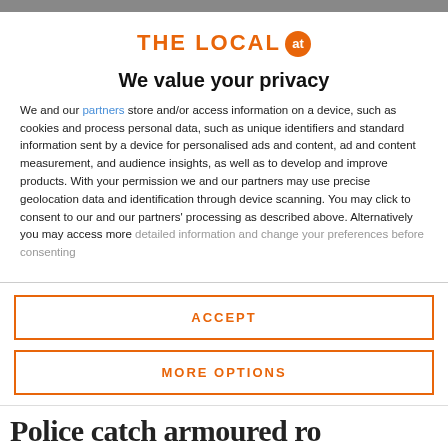[Figure (logo): The Local AT logo — orange text 'THE LOCAL' with an orange circle badge containing 'at']
We value your privacy
We and our partners store and/or access information on a device, such as cookies and process personal data, such as unique identifiers and standard information sent by a device for personalised ads and content, ad and content measurement, and audience insights, as well as to develop and improve products. With your permission we and our partners may use precise geolocation data and identification through device scanning. You may click to consent to our and our partners' processing as described above. Alternatively you may access more detailed information and change your preferences before consenting
ACCEPT
MORE OPTIONS
Police catch armoured ro...